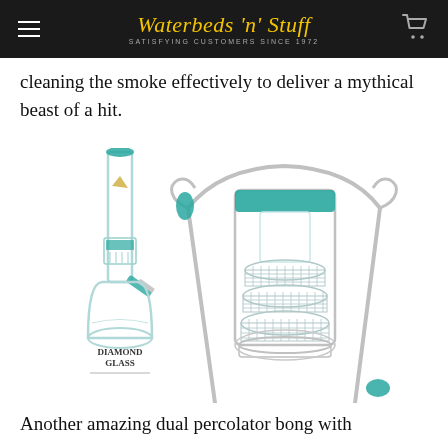Waterbeds 'n' Stuff — SATISFYING CUSTOMERS SINCE 1972
cleaning the smoke effectively to deliver a mythical beast of a hit.
[Figure (photo): Two glass bongs shown side by side: left is a tall beaker-style bong labeled 'Diamond Glass' with teal accents and an internal percolator; right is a close-up of a cylindrical percolator chamber with teal top and intricate lattice filter, with chrome/clear glass frame and teal base accents.]
Another amazing dual percolator bong with